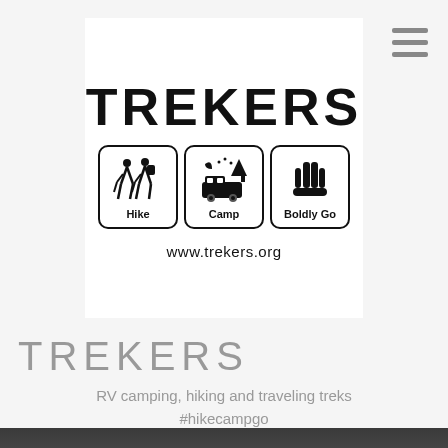[Figure (logo): TREKERS logo with TREKERS text at top, three icon boxes (Hike: two hikers with walking sticks, Camp: RV van under moon and stars with tree, Boldly Go: Vulcan hand salute), and www.trekers.org website below]
TREKERS
RV camping, hiking and traveling treks
#hikecampgo
[Figure (photo): Close-up photo of the rear of an RV or truck, showing taillights and vehicle body, dark moody tones with grass visible in background]